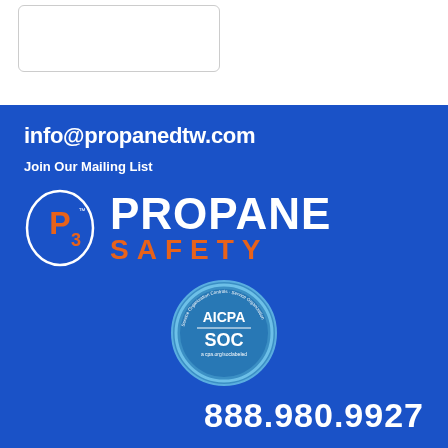[Figure (other): White top section with a rounded rectangle card outline element]
info@propanedtw.com
Join Our Mailing List
[Figure (logo): P3 Propane Safety logo: orange P3 in white oval on left, PROPANE in large white bold text with SAFETY in orange spaced letters below]
[Figure (logo): AICPA SOC certification badge, a blue circular seal with AICPA SOC text and certification details]
888.980.9927